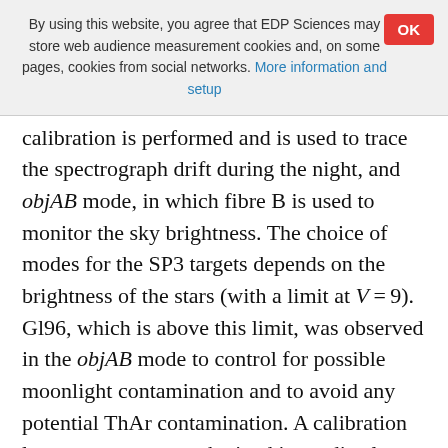By using this website, you agree that EDP Sciences may store web audience measurement cookies and, on some pages, cookies from social networks. More information and setup
calibration is performed and is used to trace the spectrograph drift during the night, and objAB mode, in which fibre B is used to monitor the sky brightness. The choice of modes for the SP3 targets depends on the brightness of the stars (with a limit at V = 9). Gl96, which is above this limit, was observed in the objAB mode to control for possible moonlight contamination and to avoid any potential ThAr contamination. A calibration lamp spectrum was obtained immediately before each observation to monitor potential drifts. Gl617A, which is brighter, was observed in the thosimult mode since it is bright enough that the contamination by moonlight can be neglected and